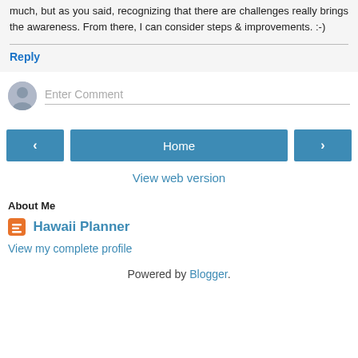much, but as you said, recognizing that there are challenges really brings the awareness. From there, I can consider steps & improvements. :-)
Reply
Enter Comment
‹   Home   ›
View web version
About Me
Hawaii Planner
View my complete profile
Powered by Blogger.